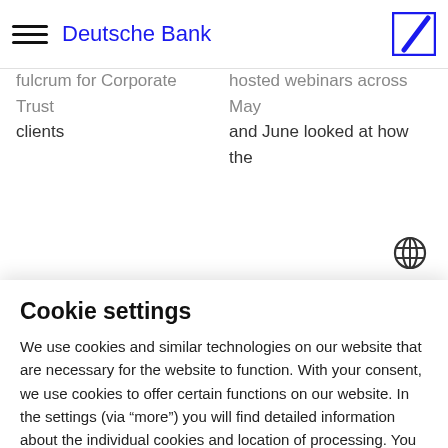Deutsche Bank
...for Corporate Trust clients
...hosted webinars across May and June looked at how the
Cookie settings
We use cookies and similar technologies on our website that are necessary for the website to function. With your consent, we use cookies to offer certain functions on our website. In the settings (via “more”) you will find detailed information about the individual cookies and location of processing. You can refuse the use of
Accept all and continue
Deny and continue
Save settings